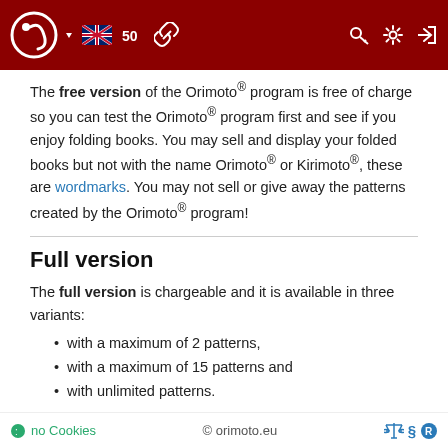Orimoto website header navigation bar
The free version of the Orimoto® program is free of charge so you can test the Orimoto® program first and see if you enjoy folding books. You may sell and display your folded books but not with the name Orimoto® or Kirimoto®, these are wordmarks. You may not sell or give away the patterns created by the Orimoto® program!
Full version
The full version is chargeable and it is available in three variants:
with a maximum of 2 patterns,
with a maximum of 15 patterns and
with unlimited patterns.
All three full versions run for a maximum of 365 days, after which a purchased full version automatically reverts to a free version.
The full version for individuals can be purchased via an account
no Cookies   © orimoto.eu